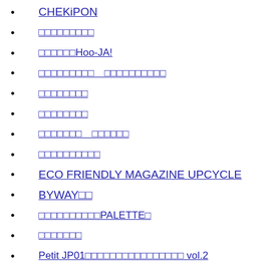CHEKiPON
□□□□□□□□□
□□□□□□Hoo-JA!
□□□□□□□□□　□□□□□□□□□□
□□□□□□□□
□□□□□□□□
□□□□□□□　□□□□□□
□□□□□□□□□□
ECO FRIENDLY MAGAZINE UPCYCLE
BYWAY□□
□□□□□□□□□□PALETTE□
□□□□□□□
Petit JP01□□□□□□□□□□□□□□□□ vol.2
□□□□□□□□□□□□□□